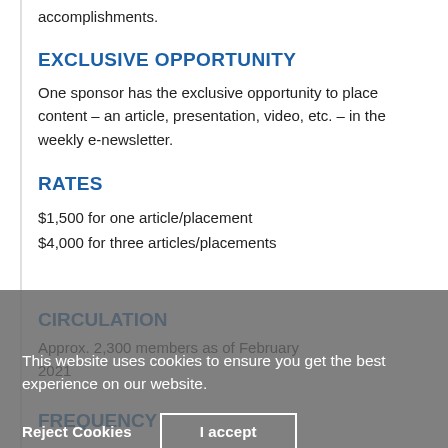accomplishments.
EXCLUSIVE OPPORTUNITY
One sponsor has the exclusive opportunity to place content – an article, presentation, video, etc. – in the weekly e-newsletter.
RATES
$1,500 for one article/placement
$4,000 for three articles/placements
CIRCULATION
Approx. 2,300 members as of February 2021
FREQUENCY
This website uses cookies to ensure you get the best experience on our website.
Reject Cookies   I accept